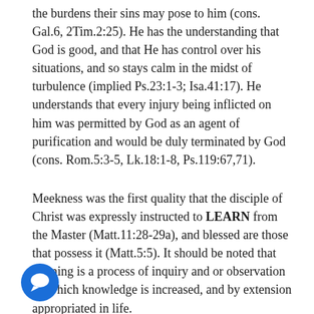the burdens their sins may pose to him (cons. Gal.6, 2Tim.2:25). He has the understanding that God is good, and that He has control over his situations, and so stays calm in the midst of turbulence (implied Ps.23:1-3; Isa.41:17). He understands that every injury being inflicted on him was permitted by God as an agent of purification and would be duly terminated by God (cons. Rom.5:3-5, Lk.18:1-8, Ps.119:67,71).
Meekness was the first quality that the disciple of Christ was expressly instructed to LEARN from the Master (Matt.11:28-29a), and blessed are those that possess it (Matt.5:5). It should be noted that learning is a process of inquiry and or observation by which knowledge is increased, and by extension appropriated in life.